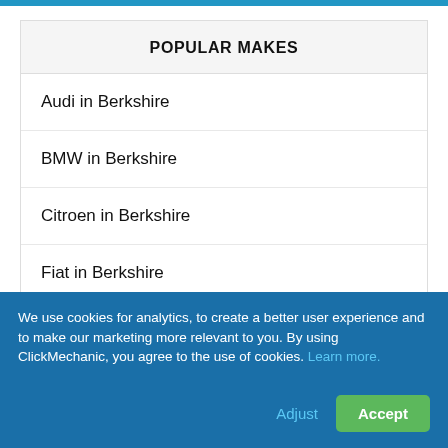POPULAR MAKES
Audi in Berkshire
BMW in Berkshire
Citroen in Berkshire
Fiat in Berkshire
Ford in Berkshire
SHOW MORE
We use cookies for analytics, to create a better user experience and to make our marketing more relevant to you. By using ClickMechanic, you agree to the use of cookies. Learn more.
Adjust
Accept